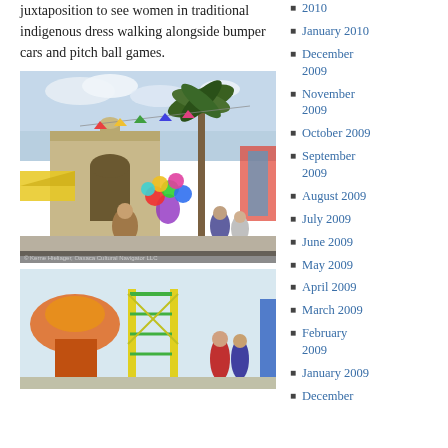juxtaposition to see women in traditional indigenous dress walking alongside bumper cars and pitch ball games.
[Figure (photo): Street scene with people, balloon vendor, palm tree, and market stalls. Photo credit visible at bottom.]
[Figure (photo): Carnival/fair scene with colorful rides and people.]
2010
January 2010
December 2009
November 2009
October 2009
September 2009
August 2009
July 2009
June 2009
May 2009
April 2009
March 2009
February 2009
January 2009
December